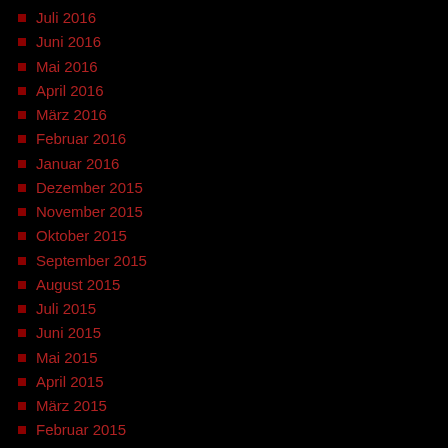Juli 2016
Juni 2016
Mai 2016
April 2016
März 2016
Februar 2016
Januar 2016
Dezember 2015
November 2015
Oktober 2015
September 2015
August 2015
Juli 2015
Juni 2015
Mai 2015
April 2015
März 2015
Februar 2015
Januar 2015
Dezember 2014
November 2014
Oktober 2014
September 2014